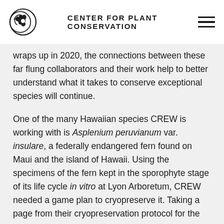CENTER FOR PLANT CONSERVATION
wraps up in 2020, the connections between these far flung collaborators and their work help to better understand what it takes to conserve exceptional species will continue.
One of the many Hawaiian species CREW is working with is Asplenium peruvianum var. insulare, a federally endangered fern found on Maui and the island of Hawaii. Using the specimens of the fern kept in the sporophyte stage of its life cycle in vitro at Lyon Arboretum, CREW needed a game plan to cryopreserve it. Taking a page from their cryopreservation protocol for the endangered mainland fern Asplenium scolopendrium (American hart's-tongue fern), CREW staff was able to produce green globular bodies (GGB), small clumps of tissue